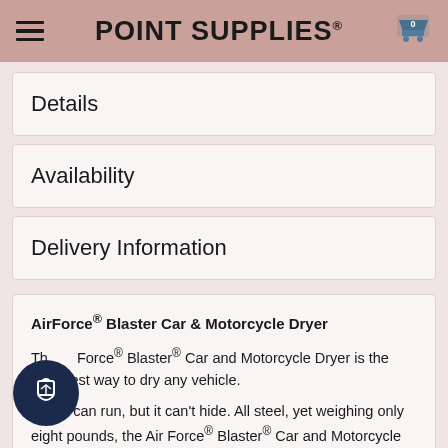POINT SUPPLIES®
Details
Availability
Delivery Information
AirForce® Blaster Car & Motorcycle Dryer
The AirForce® Blaster® Car and Motorcycle Dryer is the and safest way to dry any vehicle.

Water can run, but it can't hide. All steel, yet weighing only eight pounds, the Air Force® Blaster® Car and Motorcycle